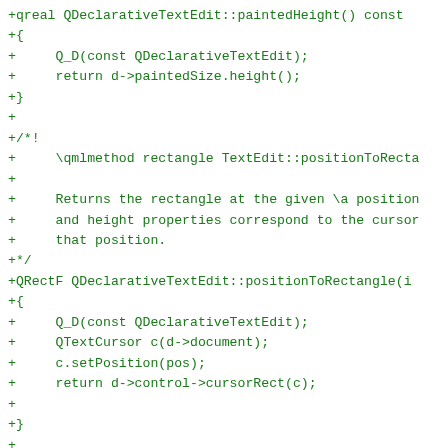+qreal QDeclarativeTextEdit::paintedHeight() const
+{
+     Q_D(const QDeclarativeTextEdit);
+     return d->paintedSize.height();
+}
+
+/*!
+     \qmlmethod rectangle TextEdit::positionToRecta
+
+     Returns the rectangle at the given \a position
+     and height properties correspond to the cursor
+     that position.
+*/
+QRectF QDeclarativeTextEdit::positionToRectangle(i
+{
+     Q_D(const QDeclarativeTextEdit);
+     QTextCursor c(d->document);
+     c.setPosition(pos);
+     return d->control->cursorRect(c);
+
+}
+
+/*!
+     \qmlmethod int TextEdit::positionAt(int x, int
+
+     Returns the text position closest to pixel pos
+
+     Position 0 is before the first character, posi
+     but before the second, and so on until positio
+*/